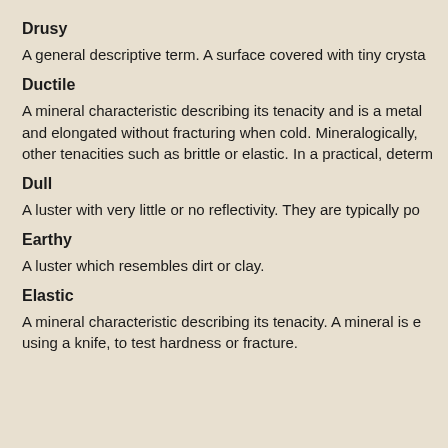Drusy
A general descriptive term. A surface covered with tiny crysta…
Ductile
A mineral characteristic describing its tenacity and is a metal… and elongated without fracturing when cold. Mineralogically, … other tenacities such as brittle or elastic. In a practical, determ…
Dull
A luster with very little or no reflectivity. They are typically po…
Earthy
A luster which resembles dirt or clay.
Elastic
A mineral characteristic describing its tenacity. A mineral is e… using a knife, to test hardness or fracture.